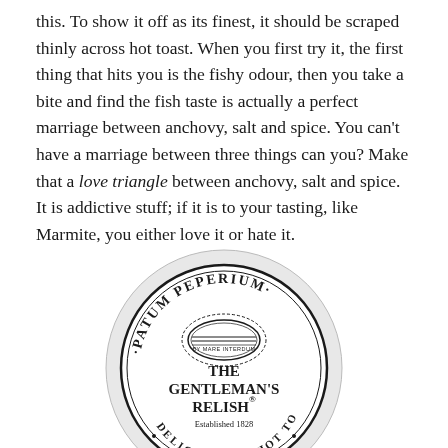this. To show it off as its finest, it should be scraped thinly across hot toast. When you first try it, the first thing that hits you is the fishy odour, then you take a bite and find the fish taste is actually a perfect marriage between anchovy, salt and spice. You can't have a marriage between three things can you? Make that a love triangle between anchovy, salt and spice. It is addictive stuff; if it is to your tasting, like Marmite, you either love it or hate it.
[Figure (illustration): Top-down view of a round white tin lid for Patum Peperium The Gentleman's Relish, Established 1828, with text 'Delicious on Hot Toast' around the bottom edge and a decorative oval logo in the center.]